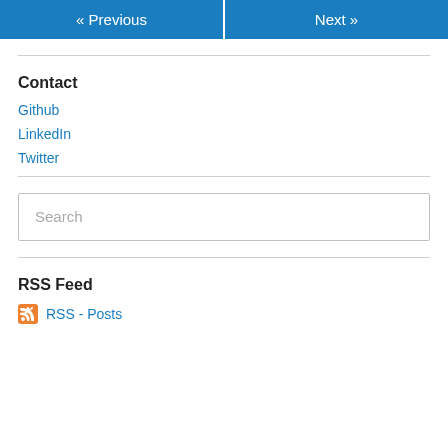« Previous
Next »
Contact
Github
LinkedIn
Twitter
Search
RSS Feed
RSS - Posts